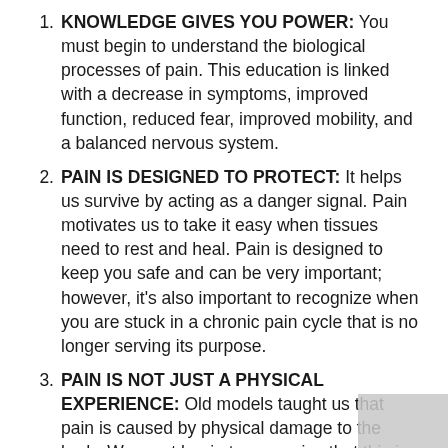KNOWLEDGE GIVES YOU POWER: You must begin to understand the biological processes of pain. This education is linked with a decrease in symptoms, improved function, reduced fear, improved mobility, and a balanced nervous system.
PAIN IS DESIGNED TO PROTECT: It helps us survive by acting as a danger signal. Pain motivates us to take it easy when tissues need to rest and heal. Pain is designed to keep you safe and can be very important; however, it's also important to recognize when you are stuck in a chronic pain cycle that is no longer serving its purpose.
PAIN IS NOT JUST A PHYSICAL EXPERIENCE: Old models taught us that pain is caused by physical damage to the body. We must begin to recognize that this is just one of many factors